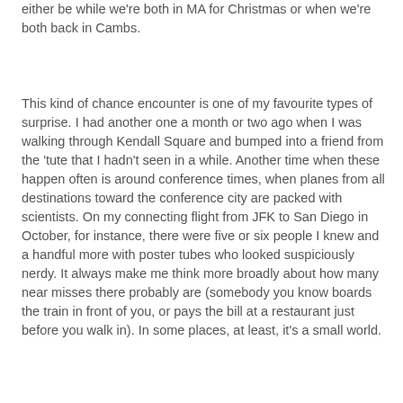either be while we're both in MA for Christmas or when we're both back in Cambs.
This kind of chance encounter is one of my favourite types of surprise. I had another one a month or two ago when I was walking through Kendall Square and bumped into a friend from the 'tute that I hadn't seen in a while. Another time when these happen often is around conference times, when planes from all destinations toward the conference city are packed with scientists. On my connecting flight from JFK to San Diego in October, for instance, there were five or six people I knew and a handful more with poster tubes who looked suspiciously nerdy. It always make me think more broadly about how many near misses there probably are (somebody you know boards the train in front of you, or pays the bill at a restaurant just before you walk in). In some places, at least, it's a small world.